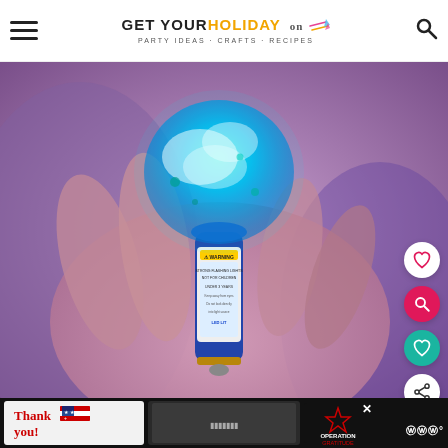GET YOUR HOLIDAY on · PARTY IDEAS · CRAFTS · RECIPES
[Figure (photo): Close-up photo of a hand holding a glowing cyan/teal light-up lollipop or glow stick toy against a purple/pink background. The toy has a rounded glowing top and a cylindrical handle with a WARNING label.]
[Figure (photo): Advertisement banner: thank you card with American flag design and Operation Gratitude logo with military personnel photo.]